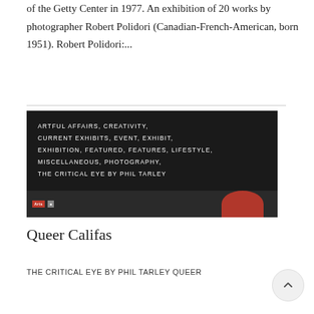of the Getty Center in 1977. An exhibition of 20 works by photographer Robert Polidori (Canadian-French-American, born 1951). Robert Polidori:...
[Figure (infographic): Dark background image block with white uppercase text categories: ARTFUL AFFAIRS, CREATIVITY, CURRENT EXHIBITS, EVENT, EXHIBIT, EXHIBITION, FEATURED, FEATURES, LIFESTYLE, MISCELLANEOUS, PHOTOGRAPHY, THE CRITICAL EYE BY PHIL TARLEY. Bottom strip shows logo icons and a red shoe photograph.]
Queer Califas
THE CRITICAL EYE BY PHIL TARLEY QUEER